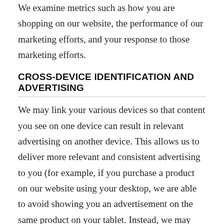We examine metrics such as how you are shopping on our website, the performance of our marketing efforts, and your response to those marketing efforts.
CROSS-DEVICE IDENTIFICATION AND ADVERTISING
We may link your various devices so that content you see on one device can result in relevant advertising on another device. This allows us to deliver more relevant and consistent advertising to you (for example, if you purchase a product on our website using your desktop, we are able to avoid showing you an advertisement on the same product on your tablet. Instead, we may show you an ad on your tablet for complementary products to the one